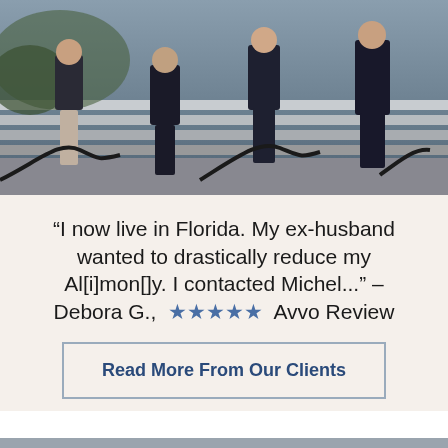[Figure (photo): Group photo of law firm attorneys in business attire standing on outdoor steps]
“I now live in Florida. My ex-husband wanted to drastically reduce my Al[i]mon[]y. I contacted Michel...” – Debora G., ★★★★★ Avvo Review
Read More From Our Clients